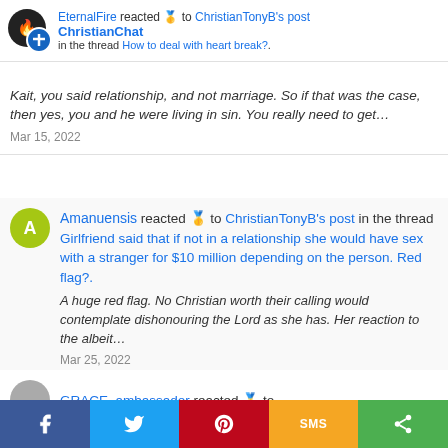EternalFire reacted 🥇 to ChristianTonyB's post | ChristianChat.com | the thread How to deal with heart break?.
Kait, you said relationship, and not marriage. So if that was the case, then yes, you and he were living in sin. You really need to get…
Mar 15, 2022
Amanuensis reacted 🥇 to ChristianTonyB's post in the thread Girlfriend said that if not in a relationship she would have sex with a stranger for $10 million depending on the person. Red flag?.
A huge red flag. No Christian worth their calling would contemplate dishonouring the Lord as she has. Her reaction to the albeit…
Mar 25, 2022
GRACE_ambassador reacted 🥇 to